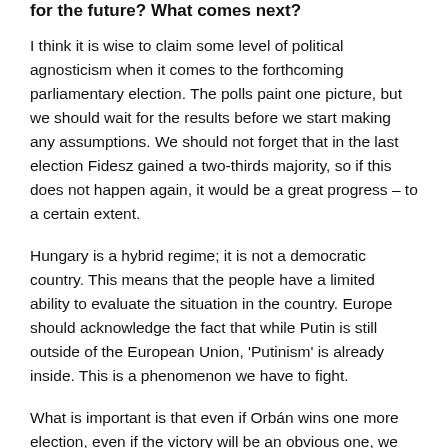for the future? What comes next?
I think it is wise to claim some level of political agnosticism when it comes to the forthcoming parliamentary election. The polls paint one picture, but we should wait for the results before we start making any assumptions. We should not forget that in the last election Fidesz gained a two-thirds majority, so if this does not happen again, it would be a great progress – to a certain extent.
Hungary is a hybrid regime; it is not a democratic country. This means that the people have a limited ability to evaluate the situation in the country. Europe should acknowledge the fact that while Putin is still outside of the European Union, 'Putinism' is already inside. This is a phenomenon we have to fight.
What is important is that even if Orbán wins one more election, even if the victory will be an obvious one, we shall not lose hope in Hungary. Because, according to all the polls, at